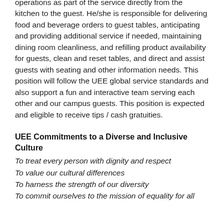operations as part of the service directly from the kitchen to the guest. He/she is responsible for delivering food and beverage orders to guest tables, anticipating and providing additional service if needed, maintaining dining room cleanliness, and refilling product availability for guests, clean and reset tables, and direct and assist guests with seating and other information needs. This position will follow the UEE global service standards and also support a fun and interactive team serving each other and our campus guests. This position is expected and eligible to receive tips / cash gratuities.
UEE Commitments to a Diverse and Inclusive Culture
To treat every person with dignity and respect
To value our cultural differences
To harness the strength of our diversity
To commit ourselves to the mission of equality for all